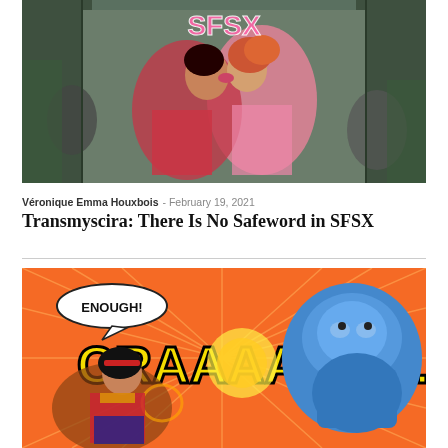[Figure (illustration): Comic book cover art showing two figures kissing amid a crowd of people in riot gear, with colorful text at the top. Predominantly teal/green and pink color scheme.]
Véronique Emma Houxbois - February 19, 2021
Transmyscira: There Is No Safeword in SFSX
[Figure (illustration): Comic book panel showing a superhero (Wonder Woman-like character) punching a blue armored figure/robot with the sound effects 'ENOUGH!' and 'CRAAAANCH!!' in yellow lettering on an orange background.]